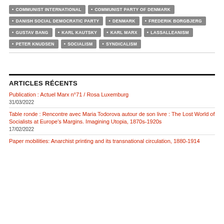COMMUNIST INTERNATIONAL
COMMUNIST PARTY OF DENMARK
DANISH SOCIAL DEMOCRATIC PARTY
DENMARK
FREDERIK BORGBJERG
GUSTAV BANG
KARL KAUTSKY
KARL MARX
LASSALLEANISM
PETER KNUDSEN
SOCIALISM
SYNDICALISM
ARTICLES RÉCENTS
Publication : Actuel Marx n°71 / Rosa Luxemburg
31/03/2022
Table ronde : Rencontre avec Maria Todorova autour de son livre : The Lost World of Socialists at Europe's Margins. Imagining Utopia, 1870s-1920s
17/02/2022
Paper mobilities: Anarchist printing and its transnational circulation, 1880-1914